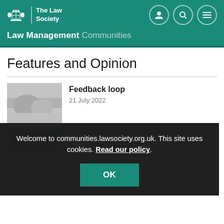The Law Society | Law Management Communities
Features and Opinion
[Figure (photo): Grayscale thumbnail image of hands, associated with 'Feedback loop' article]
Feedback loop
21 July 2022
Welcome to communities.lawsociety.org.uk. This site uses cookies. Read our policy.
OK